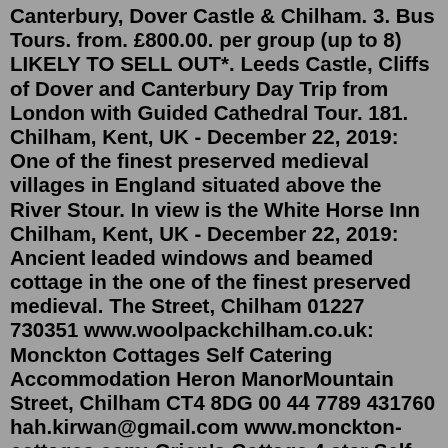Canterbury, Dover Castle & Chilham. 3. Bus Tours. from. £800.00. per group (up to 8) LIKELY TO SELL OUT*. Leeds Castle, Cliffs of Dover and Canterbury Day Trip from London with Guided Cathedral Tour. 181. Chilham, Kent, UK - December 22, 2019: One of the finest preserved medieval villages in England situated above the River Stour. In view is the White Horse Inn Chilham, Kent, UK - December 22, 2019: Ancient leaded windows and beamed cottage in the one of the finest preserved medieval. The Street, Chilham 01227 730351 www.woolpackchilham.co.uk: Monckton Cottages Self Catering Accommodation Heron ManorMountain Street, Chilham CT4 8DG 00 44 7789 431760 hah.kirwan@gmail.com www.monckton-cottages.com: Orion's Cottage 4 star Self Catering Accommodation The Square, Chilham 'Event Season' runs from April to October every year hosting a variety of events for all to enjoy -... Chilham Castle Chilham Castle Estate, CT4 8DB Canterbury, UKThe Duties and Responsibilities of Chilham Parish Council. The Parish Council carried out a full range